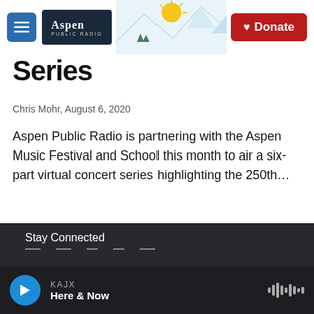Aspen Public Radio — Donate
Series
Chris Mohr,  August 6, 2020
Aspen Public Radio is partnering with the Aspen Music Festival and School this month to air a six-part virtual concert series highlighting the 250th…
Load More
Stay Connected
KAJX
Here & Now